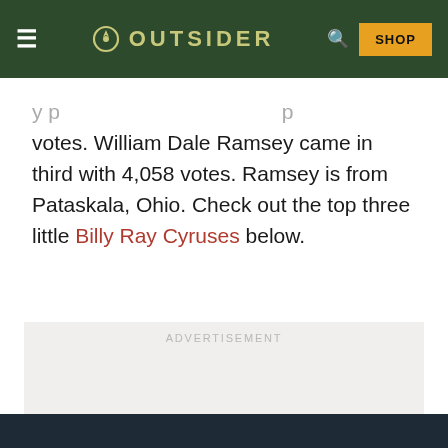OUTSIDER
votes. William Dale Ramsey came in third with 4,058 votes. Ramsey is from Pataskala, Ohio. Check out the top three little Billy Ray Cyruses below.
[Figure (other): Advertisement placeholder box with 'ADVERTISEMENT' label in light gray text on a light gray background]